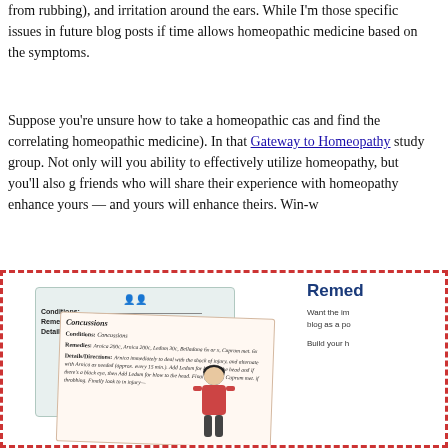from rubbing), and irritation around the ears. While I'm those specific issues in future blog posts if time allows homeopathic medicine based on the symptoms.
Suppose you're unsure how to take a homeopathic cas and find the correlating homeopathic medicine). In that Gateway to Homeopathy study group. Not only will you ability to effectively utilize homeopathy, but you'll also g friends who will share their experience with homeopathy enhance yours — and yours will enhance theirs. Win-w
[Figure (illustration): A dashed red-bordered box containing two overlapping remedy cards (one teal/green bordered card and one cream/peach bordered card with handwritten-style text about Concussions remedies), a small woman illustration, and a right-side panel with 'Remed' heading text and description about building a blog.]